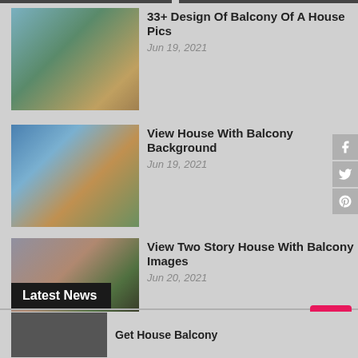33+ Design Of Balcony Of A House Pics
Jun 19, 2021
View House With Balcony Background
Jun 19, 2021
View Two Story House With Balcony Images
Jun 20, 2021
Latest News
Get House Balcony